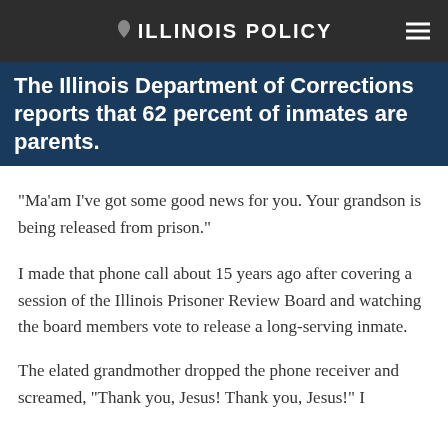ILLINOIS POLICY
The Illinois Department of Corrections reports that 62 percent of inmates are parents.
“Ma’am I’ve got some good news for you. Your grandson is being released from prison.”
I made that phone call about 15 years ago after covering a session of the Illinois Prisoner Review Board and watching the board members vote to release a long-serving inmate.
The elated grandmother dropped the phone receiver and screamed, “Thank you, Jesus! Thank you, Jesus!” I